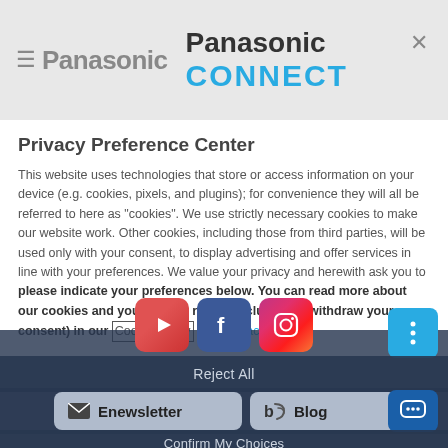Panasonic / Panasonic CONNECT
Privacy Preference Center
This website uses technologies that store or access information on your device (e.g. cookies, pixels, and plugins); for convenience they will all be referred to here as "cookies". We use strictly necessary cookies to make our website work. Other cookies, including those from third parties, will be used only with your consent, to display advertising and offer services in line with your preferences. We value your privacy and herewith ask you to please indicate your preferences below. You can read more about our cookies and your related rights (including to withdraw your consent) in our Cookie Policy and Privacy Policy.
[Figure (screenshot): Social media icons: YouTube, Facebook, Instagram]
Reject All
Enewsletter
Blog
Confirm My Choices